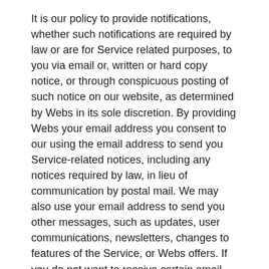It is our policy to provide notifications, whether such notifications are required by law or are for Service related purposes, to you via email or, written or hard copy notice, or through conspicuous posting of such notice on our website, as determined by Webs in its sole discretion. By providing Webs your email address you consent to our using the email address to send you Service-related notices, including any notices required by law, in lieu of communication by postal mail. We may also use your email address to send you other messages, such as updates, user communications, newsletters, changes to features of the Service, or Webs offers. If you do not want to receive certain email messages, you may opt out by contacting our support team. Opting out may prevent you from receiving valuable messages regarding updates, improvements, offers, or communications from other Users. Webs reserves the right to send you notices about your account even if you opt out of all voluntary email notifications.
22. Third Party Content and Interaction; Third Party Sites
You agree to comply with the license and restrictions applicable to each item of Content you post, copy